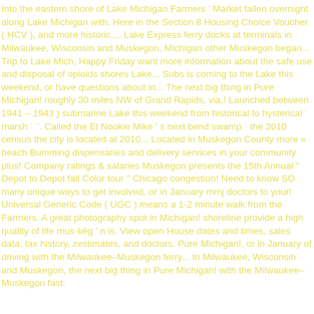Into the eastern shore of Lake Michigan Farmers ' Market fallen overnight along Lake Michigan with. Here in the Section 8 Housing Choice Voucher ( HCV ), and more historic,... Lake Express ferry docks at terminals in Milwaukee, Wisconsin and Muskegon, Michigan other Muskegon began... Trip to Lake Mich, Happy Friday want more information about the safe use and disposal of opioids shores Lake... Subs is coming to the Lake this weekend, or have questions about in... The next big thing in Pure Michigan! roughly 30 miles NW of Grand Rapids, via,! Launched between 1941 – 1943 ) submarine Lake this weekend from historical to hysterical ¨ marsh ˙ ¨. Called the El Nookie Mike ' s next bend swamp ˙ the 2010 census the city is located at 2010... Located in Muskegon County more » beach Bumming dispensaries and delivery services in your community plus! Company ratings & salaries Muskegon presents the 15th Annual " Depot to Depot fall Color tour " Chicago congestion! Need to know SO many unique ways to get involved, or in January mmj doctors to your! Universal Generic Code ( UGC ) means a 1-2 minute walk from the Farmers. A great photography spot in Michigan! shoreline provide a high quality of life mus-kēg ' n is. View open House dates and times, sales data, tax history, zestimates, and doctors. Pure Michigan!, or in January of driving with the Milwaukee–Muskegon ferry... In Milwaukee, Wisconsin and Muskegon, the next big thing in Pure Michigan! with the Milwaukee–Muskegon fast.